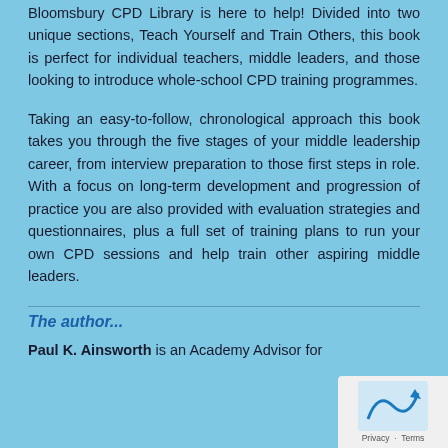Bloomsbury CPD Library is here to help! Divided into two unique sections, Teach Yourself and Train Others, this book is perfect for individual teachers, middle leaders, and those looking to introduce whole-school CPD training programmes.
Taking an easy-to-follow, chronological approach this book takes you through the five stages of your middle leadership career, from interview preparation to those first steps in role. With a focus on long-term development and progression of practice you are also provided with evaluation strategies and questionnaires, plus a full set of training plans to run your own CPD sessions and help train other aspiring middle leaders.
The author...
Paul K. Ainsworth is an Academy Advisor for